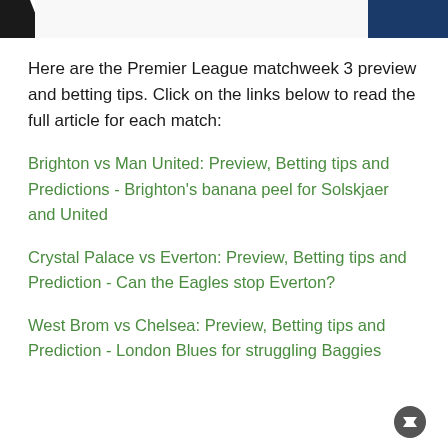[Figure (photo): Cropped top portion of a sports/football photo showing players in white and blue/dark jerseys]
Here are the Premier League matchweek 3 preview and betting tips. Click on the links below to read the full article for each match:
Brighton vs Man United: Preview, Betting tips and Predictions - Brighton's banana peel for Solskjaer and United
Crystal Palace vs Everton: Preview, Betting tips and Prediction - Can the Eagles stop Everton?
West Brom vs Chelsea: Preview, Betting tips and Prediction - London Blues for struggling Baggies